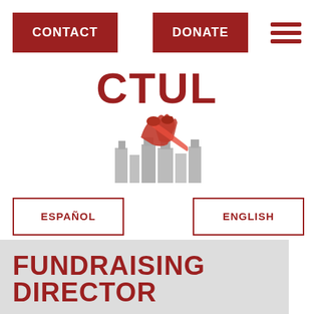CONTACT   DONATE   ☰
[Figure (logo): CTUL logo with text 'CTUL' in large red bold font above a stylized illustration of city buildings with two raised fists clasped together wearing red, symbolizing worker solidarity.]
ESPAÑOL
ENGLISH
FUNDRAISING DIRECTOR